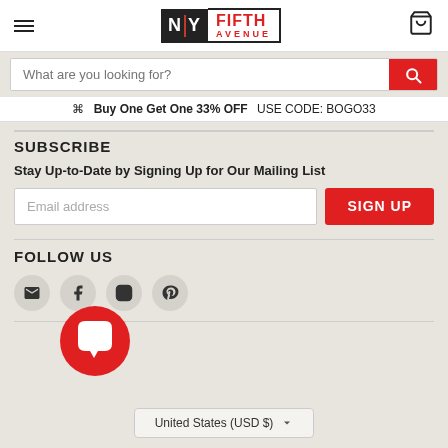NY Fifth Avenue - Header with hamburger menu, logo, and cart icon
What are you looking for?
Buy One Get One 33% OFF  USE CODE: BOGO33
SUBSCRIBE
Stay Up-to-Date by Signing Up for Our Mailing List
Email address
SIGN UP
FOLLOW US
[Figure (other): Social media icons: email, Facebook, Instagram, Pinterest]
[Figure (other): Red chat bubble / customer support widget]
United States (USD $)